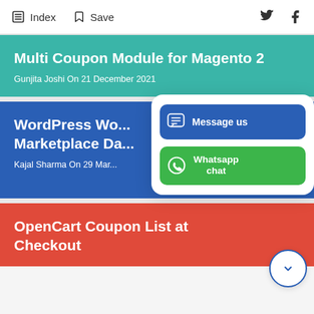Index  Save
Multi Coupon Module for Magento 2
Gunjita Joshi On 21 December 2021
WordPress Wo... Marketplace Da...
Kajal Sharma On 29 Mar...
[Figure (screenshot): Chat popup with 'Message us' blue button and 'Whatsapp chat' green button]
OpenCart Coupon List at Checkout